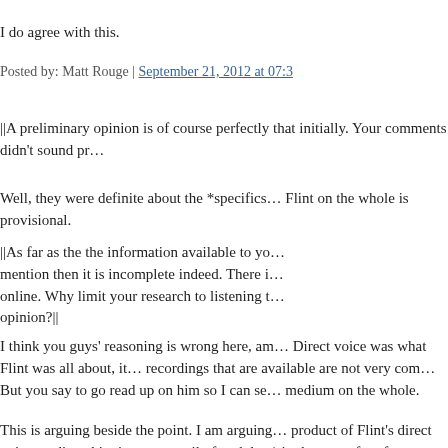I do agree with this.
Posted by: Matt Rouge | September 21, 2012 at 07:3…
||A preliminary opinion is of course perfectly that initially. Your comments didn't sound pr…
Well, they were definite about the *specifics… Flint on the whole is provisional.
||As far as the the information available to yo… mention then it is incomplete indeed. There i… online. Why limit your research to listening t… opinion?||
I think you guys' reasoning is wrong here, an… Direct voice was what Flint was all about, it… recordings that are available are not very co… But you say to go read up on him so I can se… medium on the whole.
This is arguing beside the point. I am arguing… product of Flint's direct voice mediumship, i… necessarily fraudulent) in the area of perform… arguing that he had no skill as a medium…